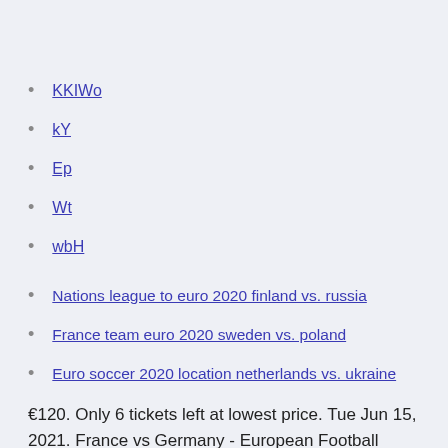KKIWo
kY
Ep
Wt
wbH
Nations league to euro 2020 finland vs. russia
France team euro 2020 sweden vs. poland
Euro soccer 2020 location netherlands vs. ukraine
€120. Only 6 tickets left at lowest price. Tue Jun 15, 2021. France vs Germany - European Football